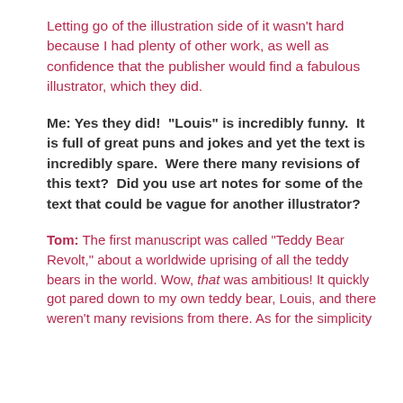Letting go of the illustration side of it wasn't hard because I had plenty of other work, as well as confidence that the publisher would find a fabulous illustrator, which they did.
Me: Yes they did!  “Louis” is incredibly funny.  It is full of great puns and jokes and yet the text is incredibly spare.  Were there many revisions of this text?  Did you use art notes for some of the text that could be vague for another illustrator?
Tom: The first manuscript was called “Teddy Bear Revolt,” about a worldwide uprising of all the teddy bears in the world. Wow, that was ambitious! It quickly got pared down to my own teddy bear, Louis, and there weren’t many revisions from there. As for the simplicity